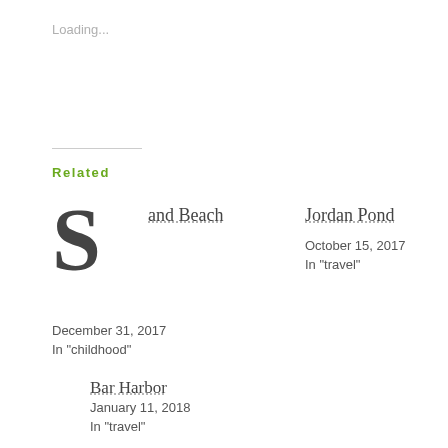Loading...
Related
Sand Beach
December 31, 2017
In "childhood"
Jordan Pond
October 15, 2017
In "travel"
Bar Harbor
January 11, 2018
In "travel"
Tagged: Acadia National Park, Bar Harbor, family vacation, landscape photography, Maine, nature photography, photography, travel, travel photography, wanderlust